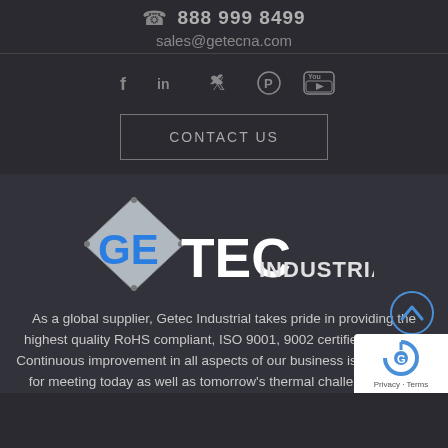888 999 8499
sales@getecna.com
[Figure (infographic): Social media icons row: Facebook (f), LinkedIn (in), Twitter (bird), Pinterest (P circle), YouTube (play button)]
CONTACT US
[Figure (logo): GETEC INDUSTRIAL logo with diamond/rhombus metallic shape behind GE in blue and TEC in white, followed by INDUSTRIAL in smaller white text]
As a global supplier, Getec Industrial takes pride in providing the highest quality RoHS compliant, ISO 9001, 9002 certified products. Continuous improvement in all aspects of our business is our strategy for meeting today as well as tomorrow's thermal challenges in the